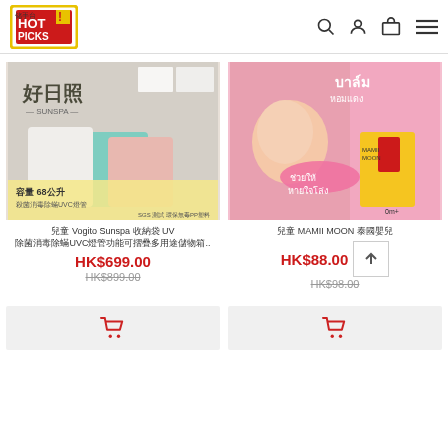HOT PICKS - navigation header with logo, search, user, cart, and menu icons
[Figure (photo): Product image of Vogito Sunspa UV storage bags in white, pink and teal colors with Chinese text]
兒童 Vogito Sunspa 收納袋 UV 除菌消毒除蟎UVC燈管功能可摺疊多用途儲物箱..
HK$699.00
HK$899.00
[Figure (photo): Product image of MAMII MOON balm with Thai text and pink background showing a mother with baby]
兒童 MAMII MOON 泰國嬰兒
HK$88.00
HK$98.00